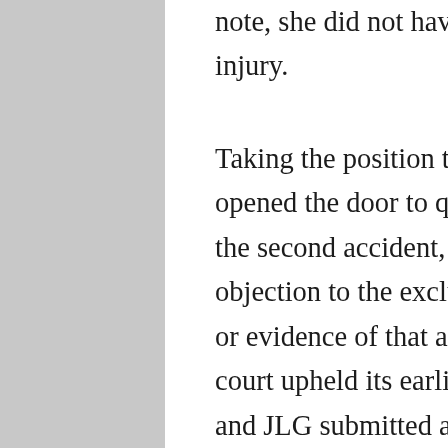note, she did not have any other history of injury.
Taking the position that this testimony opened the door to questions concerning the second accident, JLG renewed its objection to the exclusion of all mention or evidence of that accident. The trial court upheld its earlier exclusion ruling, and JLG submitted an offer of proof as to the testimony that would have been elicited from Dr. Pechero and the evidence that would have been presented in 4 support of the second accident as an alternative cause. JLG's offer of proof included the police report regarding the second accident, photos of Garza's vehicle after the second